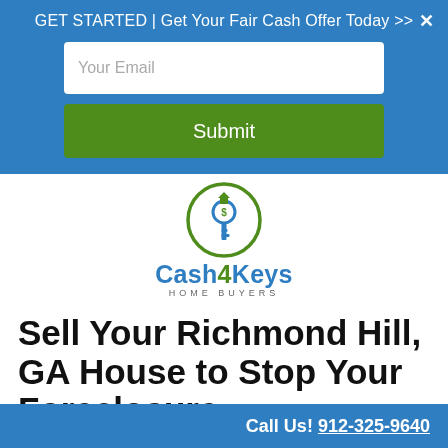GET STARTED | Get Your Fair Cash Offer Today >>
[Figure (screenshot): Email input field placeholder 'Your Email' with white background]
[Figure (screenshot): Green Submit button]
[Figure (logo): Cash4Keys Home Buyers logo with key icon in green circle]
Sell Your Richmond Hill, GA House to Stop Your Foreclosure
Call Us! 912-325-9640